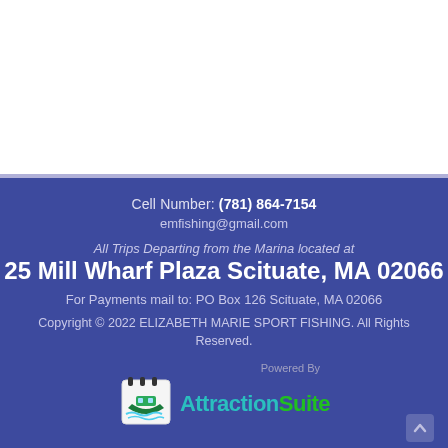Cell Number: (781) 864-7154
emfishing@gmail.com
All Trips Departing from the Marina located at
25 Mill Wharf Plaza Scituate, MA 02066
For Payments mail to: PO Box 126 Scituate, MA 02066
Copyright © 2022 ELIZABETH MARIE SPORT FISHING. All Rights Reserved.
[Figure (logo): AttractionSuite logo with boat icon and teal/green text reading 'Powered By AttractionSuite']